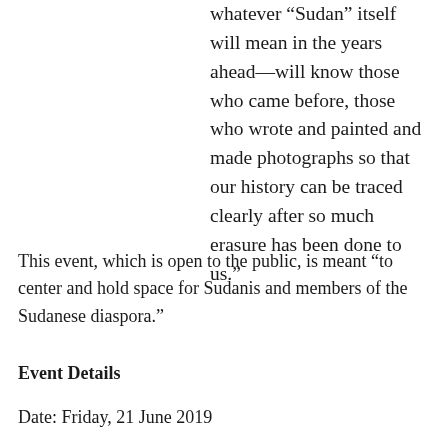whatever “Sudan” itself will mean in the years ahead—will know those who came before, those who wrote and painted and made photographs so that our history can be traced clearly after so much erasure has been done to us.”
This event, which is open to the public, is meant “to center and hold space for Sudanis and members of the Sudanese diaspora.”
Event Details
Date: Friday, 21 June 2019